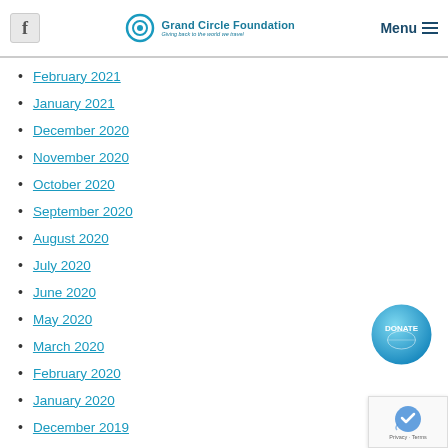Grand Circle Foundation — Giving back to the world we travel | Menu
February 2021
January 2021
December 2020
November 2020
October 2020
September 2020
August 2020
July 2020
June 2020
May 2020
March 2020
February 2020
January 2020
December 2019
November 2019
October 2019
[Figure (logo): Grand Circle Foundation logo with eye icon]
[Figure (illustration): DONATE circular button with globe imagery]
[Figure (other): reCAPTCHA privacy badge]